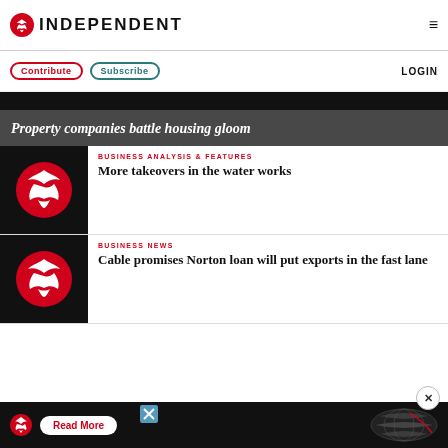INDEPENDENT
Contribute   Subscribe   LOGIN
Property companies battle housing gloom
BUSINESS ANALYSIS & FEATURES
More takeovers in the water works
BUSINESS NEWS
Cable promises Norton loan will put exports in the fast lane
Read More